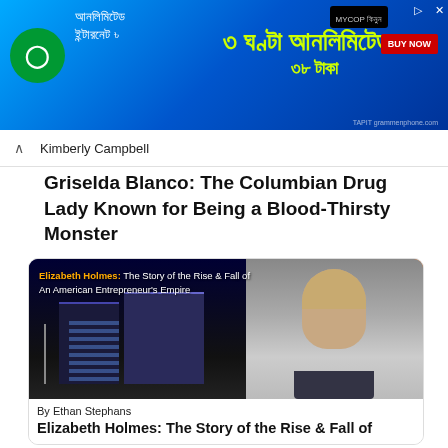[Figure (other): Advertisement banner in Bengali language for Grameenphone unlimited internet. Blue background with Bengali script text and yellow/green highlighted offer text. BUY NOW button visible.]
Kimberly Campbell
Griselda Blanco: The Columbian Drug Lady Known for Being a Blood-Thirsty Monster
[Figure (illustration): Article card for Elizabeth Holmes story. Shows a building with dark facade lit with blue lights on the left, and a woman (Elizabeth Holmes) smiling on the right. Overlay text reads: Elizabeth Holmes: The Story of the Rise & Fall of An American Entrepreneur's Empire]
By Ethan Stephans
Elizabeth Holmes: The Story of the Rise & Fall of